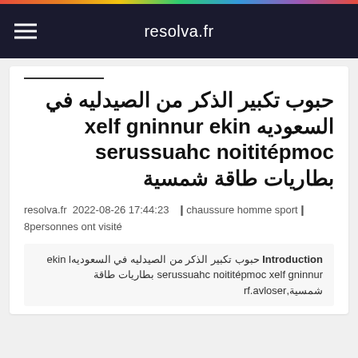resolva.fr
حبوب تكبير الذكر من الصيدليه في السعوديه nike running flex compétition chaussures بطاريات طاقة شمسية
resolva.fr 2022-08-26 17:44:23 ❙chaussure homme sport❙  8personnes ont visité
Introduction حبوب تكبير الذكر من الصيدليه في السعوديهl nike running flex compétition chaussures بطاريات طاقة شمسية,resolva.fr